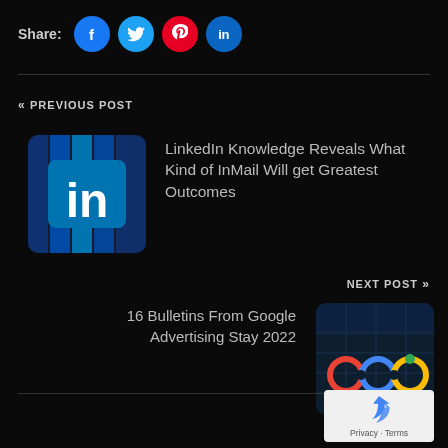Share: [Facebook] [Twitter] [Pinterest] [LinkedIn]
« PREVIOUS POST
[Figure (photo): LinkedIn logo thumbnail with blue background and 'in' text]
LinkedIn Knowledge Reveals What Kind of InMail Will get Greatest Outcomes
NEXT POST »
16 Bulletins From Google Advertising Stay 2022
[Figure (photo): Google logo building photograph with colorful Google circles]
[Figure (other): reCAPTCHA widget with Privacy and Terms text]